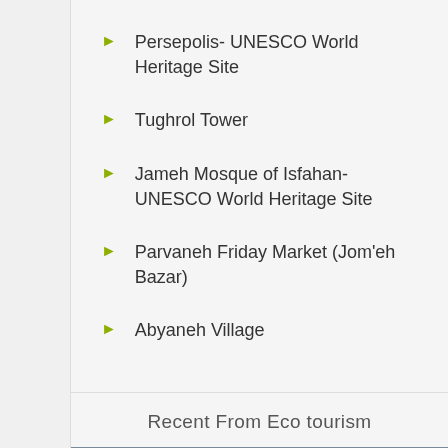Persepolis- UNESCO World Heritage Site
Tughrol Tower
Jameh Mosque of Isfahan- UNESCO World Heritage Site
Parvaneh Friday Market (Jom'eh Bazar)
Abyaneh Village
Recent From Eco tourism
[Figure (photo): Mountain landscape photo strip at the bottom of the page]